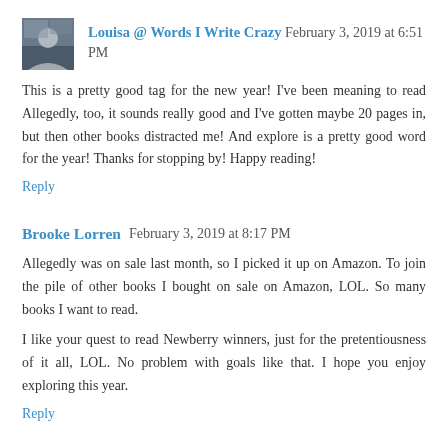Louisa @ Words I Write Crazy  February 3, 2019 at 6:51 PM
This is a pretty good tag for the new year! I've been meaning to read Allegedly, too, it sounds really good and I've gotten maybe 20 pages in, but then other books distracted me! And explore is a pretty good word for the year! Thanks for stopping by! Happy reading!
Reply
Brooke Lorren  February 3, 2019 at 8:17 PM
Allegedly was on sale last month, so I picked it up on Amazon. To join the pile of other books I bought on sale on Amazon, LOL. So many books I want to read.
I like your quest to read Newberry winners, just for the pretentiousness of it all, LOL. No problem with goals like that. I hope you enjoy exploring this year.
Reply